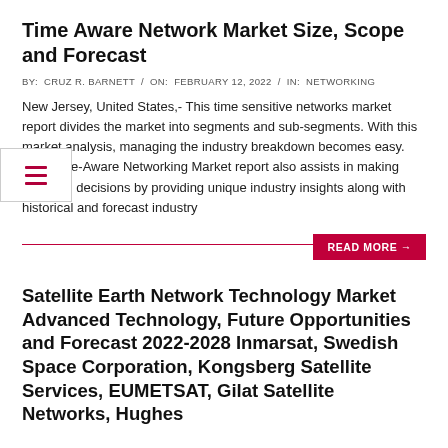Time Aware Network Market Size, Scope and Forecast
BY:  CRUZ R. BARNETT  /  ON:  FEBRUARY 12, 2022  /  IN:  NETWORKING
New Jersey, United States,- This time sensitive networks market report divides the market into segments and sub-segments. With this market analysis, managing the industry breakdown becomes easy. This Time-Aware Networking Market report also assists in making informed decisions by providing unique industry insights along with historical and forecast industry
READ MORE →
Satellite Earth Network Technology Market Advanced Technology, Future Opportunities and Forecast 2022-2028 Inmarsat, Swedish Space Corporation, Kongsberg Satellite Services, EUMETSAT, Gilat Satellite Networks, Hughes